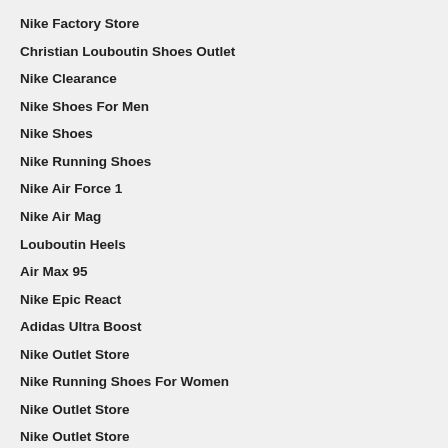Nike Factory Store
Christian Louboutin Shoes Outlet
Nike Clearance
Nike Shoes For Men
Nike Shoes
Nike Running Shoes
Nike Air Force 1
Nike Air Mag
Louboutin Heels
Air Max 95
Nike Epic React
Adidas Ultra Boost
Nike Outlet Store
Nike Running Shoes For Women
Nike Outlet Store
Nike Outlet Store
Jordan Retro
Nike Sneakers For Women
Valentino
Nike Clearance
Pandora Charms
Womens Nike Shoes